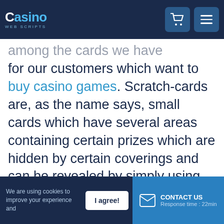Casino Web Scripts — header with logo, cart and menu icons
...among the cards we have developed for our customers which want to buy casino games. Scratch-cards are, as the name says, small cards which have several areas containing certain prizes which are hidden by certain coverings and can be revealed by simply using the mouse button or letting the computer auto-scratch the card. Scratch-cards appeared in 1974, when the scientist called John Koza and his collaborator, Daniel Bower, which was a promotion specialist, put together an
We are using cookies to improve your experience and | I agree! | CONTACT US Response time : 22min